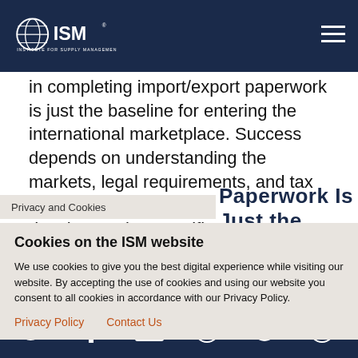ISM - Institute for Supply Management
in completing import/export paperwork is just the baseline for entering the international marketplace. Success depends on understanding the markets, legal requirements, and tax implications. Only then can you develop market-specific strategies that help your company succeed.
Privacy and Cookies
Paperwork Is Just the
Cookies on the ISM website
We use cookies to give you the best digital experience while visiting our website. By accepting the use of cookies and using our website you consent to all cookies in accordance with our Privacy Policy.
Privacy Policy    Contact Us
Social icons: Twitter, Facebook, Email, WhatsApp, SMS, Other